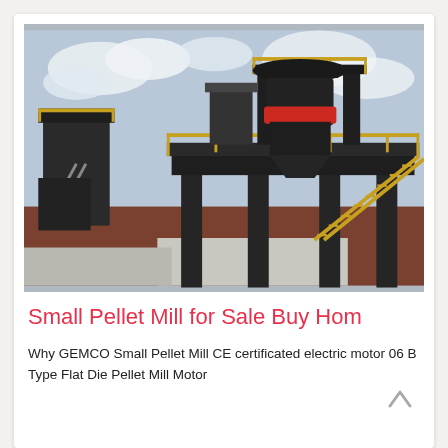[Figure (photo): Industrial pellet mill machinery installation — a large dark-colored vertical mill structure elevated on steel pillars with yellow safety railings and metal staircases. Red cylindrical component visible in the middle. Located outdoors on a concrete pad with red soil and overcast sky background. A secondary elevated platform visible on the left.]
Small Pellet Mill for Sale Buy Hom
Why GEMCO Small Pellet Mill CE certificated electric motor 06 B Type Flat Die Pellet Mill Motor